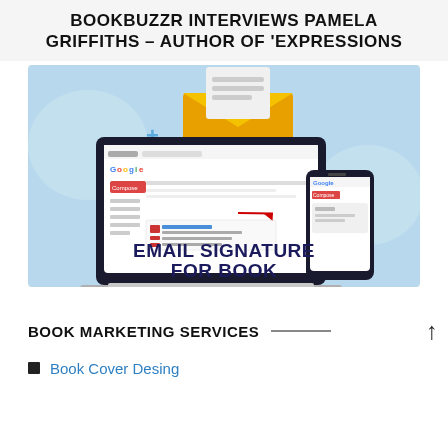BOOKBUZZR INTERVIEWS PAMELA GRIFFITHS – AUTHOR OF 'EXPRESSIONS
[Figure (infographic): Infographic showing a laptop with Gmail open and an email signature, a gold envelope with a letter, and a smartphone showing email, on a light blue background. Text reads 'EMAIL SIGNATURE FOR BOOK'.]
BOOK MARKETING SERVICES
Book Cover Desing